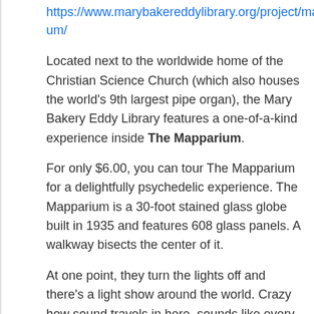https://www.marybakereddylibrary.org/project/mapparium/
Located next to the worldwide home of the Christian Science Church (which also houses the world's 9th largest pipe organ), the Mary Bakery Eddy Library features a one-of-a-kind experience inside The Mapparium.
For only $6.00, you can tour The Mapparium for a delightfully psychedelic experience. The Mapparium is a 30-foot stained glass globe built in 1935 and features 608 glass panels. A walkway bisects the center of it.
At one point, they turn the lights off and there’s a light show around the world. Crazy how sound travels in here, sounds like every whisper is microphone-amplified, incredible.
Please note that photography is not allowed inside The Mapparium.